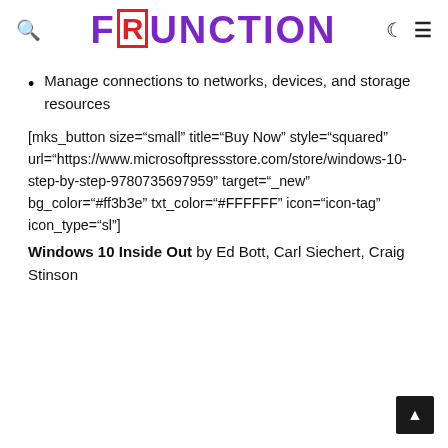FRUNCTION
Manage connections to networks, devices, and storage resources
[mks_button size="small" title="Buy Now" style="squared" url="https://www.microsoftpressstore.com/store/windows-10-step-by-step-9780735697959" target="_new" bg_color="#ff3b3e" txt_color="#FFFFFF" icon="icon-tag" icon_type="sl"]
Windows 10 Inside Out by Ed Bott, Carl Siechert, Craig Stinson